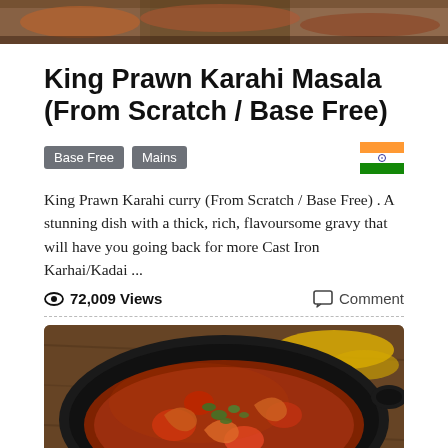[Figure (photo): Top portion of a food photograph showing cooked dishes, cropped at top of page]
King Prawn Karahi Masala (From Scratch / Base Free)
Base Free   Mains
King Prawn Karahi curry (From Scratch / Base Free) . A stunning dish with a thick, rich, flavoursome gravy that will have you going back for more Cast Iron Karhai/Kadai ...
72,009 Views   Comment
[Figure (photo): Top-down view of a cast iron karahi/kadai pan containing King Prawn curry with red tomatoes, prawns, and green coriander garnish, on a rustic wooden surface with yellow spice powder scattered around]